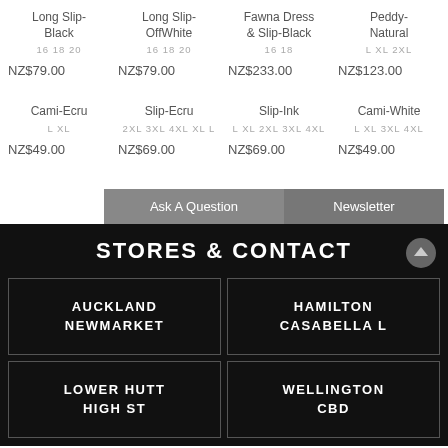Long Slip-Black
16 18 20
NZ$79.00
Long Slip-OffWhite
16 18 20
NZ$79.00
Fawna Dress & Slip-Black
16 18
NZ$233.00
Peddy-Natural
L XL 2XL
NZ$123.00
Cami-Ecru
L XL
NZ$49.00
Slip-Ecru
2XL 3XL 4XL XL L
NZ$69.00
Slip-Ink
L XL 2XL 3XL 4XL
NZ$69.00
Cami-White
L XL 3XL 4XL
NZ$49.00
Ask A Question
Newsletter
STORES & CONTACT
AUCKLAND NEWMARKET
HAMILTON CASABELLA L
LOWER HUTT HIGH ST
WELLINGTON CBD